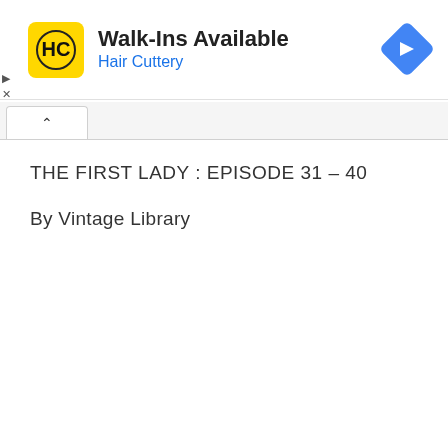[Figure (logo): Hair Cuttery advertisement banner with HC logo in yellow square, text 'Walk-Ins Available' and 'Hair Cuttery' in blue, and a blue navigation diamond icon on the right]
THE FIRST LADY : EPISODE 31 – 40
By Vintage Library